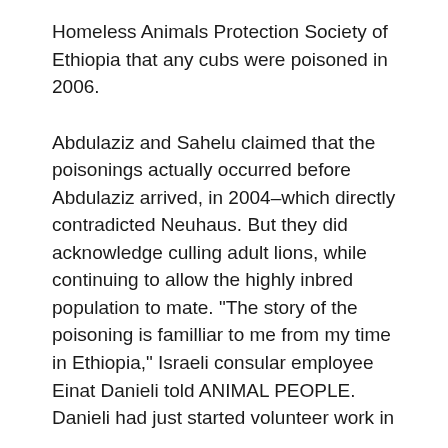Homeless Animals Protection Society of Ethiopia that any cubs were poisoned in 2006.
Abdulaziz and Sahelu claimed that the poisonings actually occurred before Abdulaziz arrived, in 2004–which directly contradicted Neuhaus. But they did acknowledge culling adult lions, while continuing to allow the highly inbred population to mate. "The story of the poisoning is familliar to me from my time in Ethiopia," Israeli consular employee Einat Danieli told ANIMAL PEOPLE. Danieli had just started volunteer work in